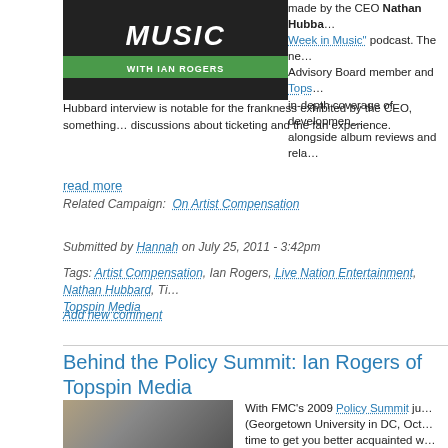[Figure (photo): This Week in Music with Ian Rogers podcast logo/banner - black background with white italic 'MUSIC' text and green bar reading 'with IAN ROGERS']
made by the CEO Nathan Hubba... Week in Music" podcast. The ne... Advisory Board member and Tops... in-depth coverage of developmen... alongside album reviews and rela... Hubbard interview is notable for the frankness exhibited by the CEO, something... discussions about ticketing and the fan experience.
read more
Related Campaign:  On Artist Compensation
Submitted by Hannah on July 25, 2011 - 3:42pm
Tags: Artist Compensation, Ian Rogers, Live Nation Entertainment, Nathan Hubbard, T... Topspin Media
Add new comment
Behind the Policy Summit: Ian Rogers of Topspin Media
[Figure (photo): Headshot photo of Ian Rogers, a man with long brown hair and glasses]
With FMC's 2009 Policy Summit ju... (Georgetown University in DC, Oct... time to get you better acquainted w... speakers we have lined up for this...
First up is Ian Rogers of Topspin M... who's helping to shape the future o...